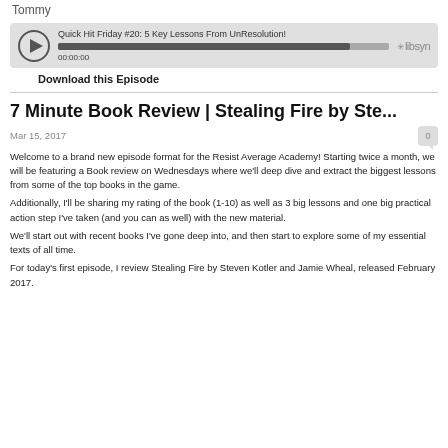Tommy
[Figure (other): Libsyn podcast audio player widget showing episode: Quick Hit Friday #20: 5 Key Lessons From UnResolution! with progress bar and timestamp 00:00:00]
Download this Episode
7 Minute Book Review | Stealing Fire by Ste...
Mar 15, 2017
Welcome to a brand new episode format for the Resist Average Academy! Starting twice a month, we will be featuring a Book review on Wednesdays where we'll deep dive and extract the biggest lessons from some of the top books in the game.
Additionally, I'll be sharing my rating of the book (1-10) as well as 3 big lessons and one big practical action step I've taken (and you can as well) with the new material.
We'll start out with recent books I've gone deep into, and then start to explore some of my essential texts of all time.
For today's first episode, I review Stealing Fire by Steven Kotler and Jamie Wheal, released February 2017.